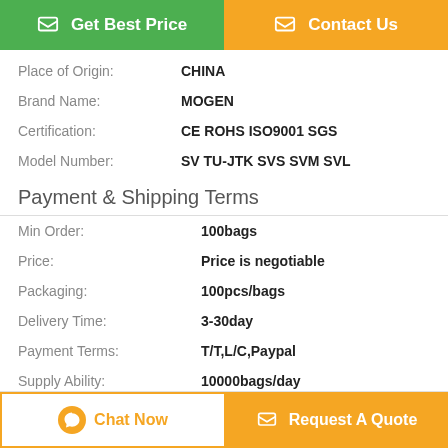[Figure (other): Two buttons: green 'Get Best Price' and orange 'Contact Us']
| Place of Origin: | CHINA |
| Brand Name: | MOGEN |
| Certification: | CE ROHS ISO9001 SGS |
| Model Number: | SV TU-JTK SVS SVM SVL |
Payment & Shipping Terms
| Min Order: | 100bags |
| Price: | Price is negotiable |
| Packaging: | 100pcs/bags |
| Delivery Time: | 3-30day |
| Payment Terms: | T/T,L/C,Paypal |
| Supply Ability: | 10000bags/day |
Description
[Figure (other): Bottom bar with 'Chat Now' and 'Request A Quote' buttons]